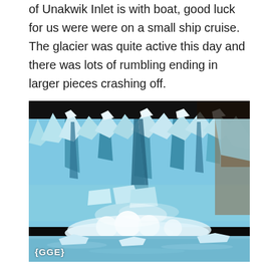of Unakwik Inlet is with boat, good luck for us were were on a small ship cruise. The glacier was quite active this day and there was lots of rumbling ending in larger pieces crashing off.
[Figure (photo): Close-up photograph of a glacier calving — massive blue-white ice wall with chunks breaking off and crashing into the water below. The ice face shows crevasses and fractures. A watermark '{GGE}' appears at the bottom left.]